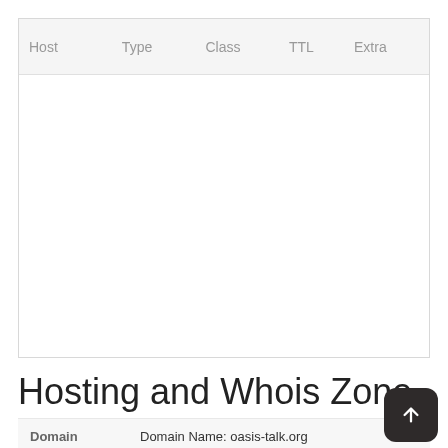| Host | Type | Class | TTL | Extra |
| --- | --- | --- | --- | --- |
Hosting and Whois Zone
| Domain infomation |  |
| --- | --- |
| Domain infomation | Domain Name: oasis-talk.org
Registry Domain ID: 5e695fc797444492da17e78881d970fac-LROR |